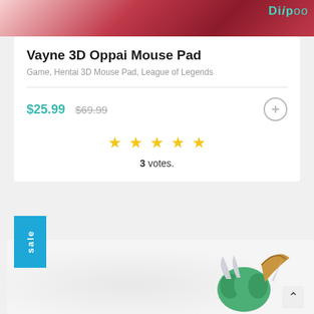[Figure (illustration): Top portion of a product image showing a red/dark-red illustrated character, partially cropped. Watermark text 'Diipoo' visible in teal in top-right corner.]
Vayne 3D Oppai Mouse Pad
Game, Hentai 3D Mouse Pad, League of Legends
$25.99 $69.99
[Figure (illustration): Bottom product thumbnail showing a fantasy creature with green hair, horns, and a large curved horn/claw, on a light gray background. Sale badge in blue on the left.]
3 votes.